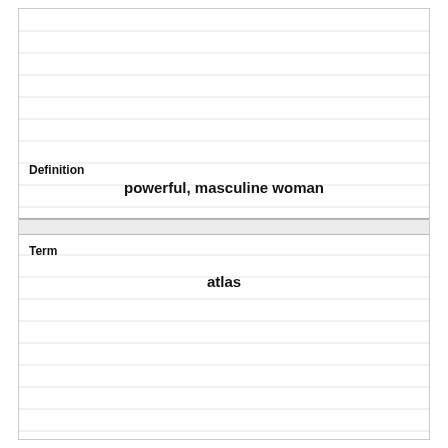Definition
powerful, masculine woman
Term
atlas